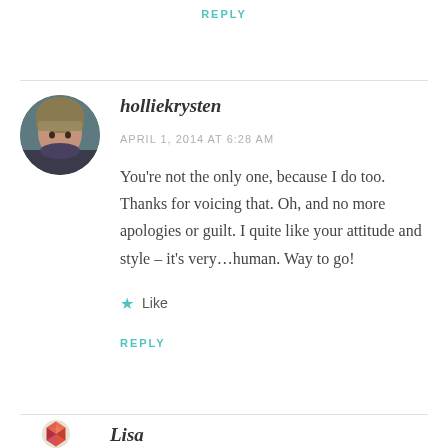REPLY
[Figure (photo): Circular avatar photo of holliekrysten, a person with blonde bangs wearing dark clothing]
holliekrysten
APRIL 1, 2014 AT 6:28 AM
You’re not the only one, because I do too. Thanks for voicing that. Oh, and no more apologies or guilt. I quite like your attitude and style – it’s very…human. Way to go!
★ Like
REPLY
[Figure (photo): Partial circular avatar with colorful geometric/origami pattern in red, orange, pink tones]
Lisa